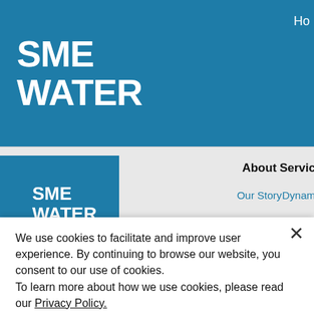[Figure (logo): SME WATER logo in white text on blue background header bar]
Ho
[Figure (logo): SME WATER square logo in white on blue within nav bar]
About
Our Story
Servic
Dynam
We use cookies to facilitate and improve user experience. By continuing to browse our website, you consent to our use of cookies.
To learn more about how we use cookies, please read our Privacy Policy.
Decline All
ACCEPT
COOKIES